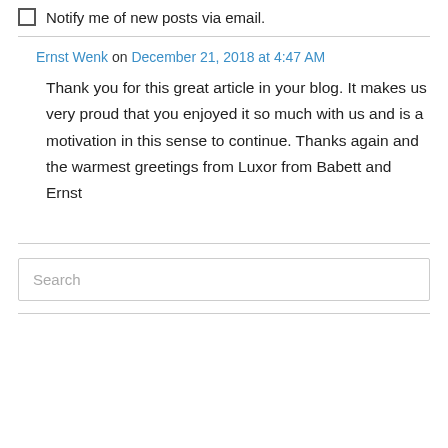Notify me of new posts via email.
Ernst Wenk on December 21, 2018 at 4:47 AM
Thank you for this great article in your blog. It makes us very proud that you enjoyed it so much with us and is a motivation in this sense to continue. Thanks again and the warmest greetings from Luxor from Babett and Ernst
Search